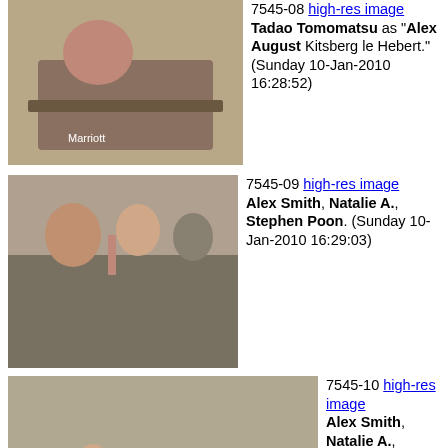[Figure (photo): Person speaking at a podium with Marriott sign visible]
7545-08 high-res image Tadao Tomomatsu as "Alex August Kitsberg le Hebert." (Sunday 10-Jan-2010 16:28:52)
[Figure (photo): Panel of people seated, woman in black speaking into microphone]
7545-09 high-res image Alex Smith, Natalie A., Stephen Poon. (Sunday 10-Jan-2010 16:29:03)
[Figure (photo): Wide panel of people seated at a table]
7545-10 high-res image Alex Smith, Natalie A., Stephen Poon, Jessica Gaona, Becca Feiner (Bekka the Alice)